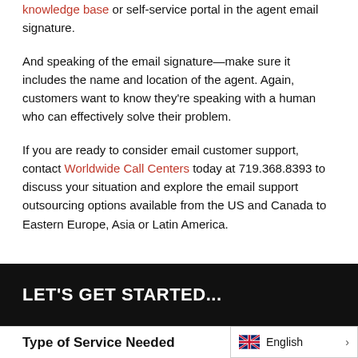knowledge base or self-service portal in the agent email signature.
And speaking of the email signature—make sure it includes the name and location of the agent. Again, customers want to know they're speaking with a human who can effectively solve their problem.
If you are ready to consider email customer support, contact Worldwide Call Centers today at 719.368.8393 to discuss your situation and explore the email support outsourcing options available from the US and Canada to Eastern Europe, Asia or Latin America.
LET'S GET STARTED...
Type of Service Needed